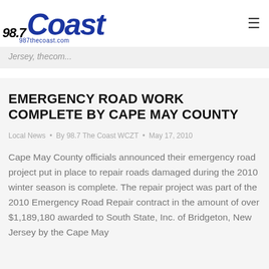98.7 The Coast WCZT — 987thecoast.com
Jersey, thecom...
EMERGENCY ROAD WORK COMPLETE BY CAPE MAY COUNTY
Local News • By 98.7 The Coast WCZT • May 17, 2010
Cape May County officials announced their emergency road project put in place to repair roads damaged during the 2010 winter season is complete. The repair project was part of the 2010 Emergency Road Repair contract in the amount of over $1,189,180 awarded to South State, Inc. of Bridgeton, New Jersey by the Cape May